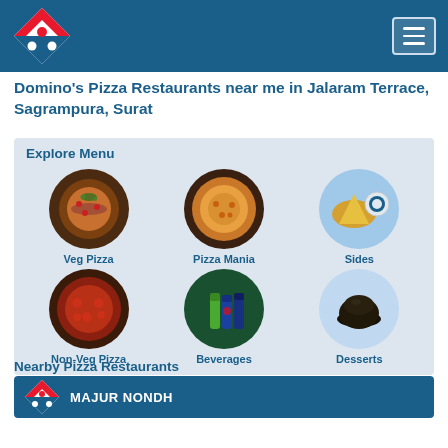Domino's Pizza header with logo and hamburger menu
Domino's Pizza Restaurants near me in Jalaram Terrace, Sagrampura, Surat
Explore Menu
[Figure (infographic): Menu grid with 6 circular food images: Veg Pizza, Pizza Mania, Sides, Non-Veg Pizza, Beverages, Desserts]
Nearby Pizza Restaurants
MAJUR NONDH